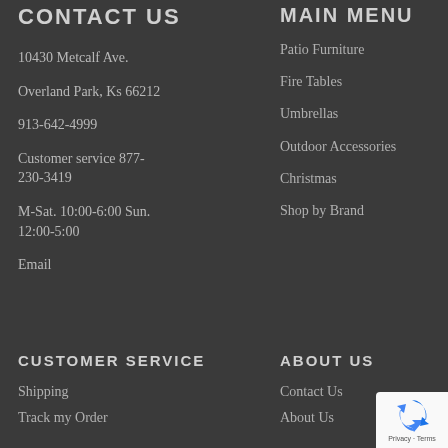CONTACT US
10430 Metcalf Ave.
Overland Park, Ks 66212
913-642-4999
Customer service 877-230-3419
M-Sat. 10:00-6:00 Sun. 12:00-5:00
Email
MAIN MENU
Patio Furniture
Fire Tables
Umbrellas
Outdoor Accessories
Christmas
Shop by Brand
CUSTOMER SERVICE
Shipping
Track my Order
ABOUT US
Contact Us
About Us
[Figure (other): reCAPTCHA privacy badge with blue circular arrow icon and 'Privacy - Terms' text]